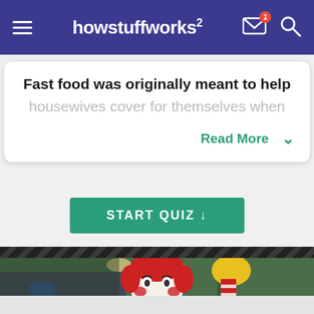howstuffworks²
Fast food was originally meant to help housewives cover for themselves when
Read More
START QUIZ ↓
[Figure (photo): A Ronald McDonald statue/figurine with red hair, white face, red and white striped outfit and yellow gloves, waving, inside a shopping mall.]